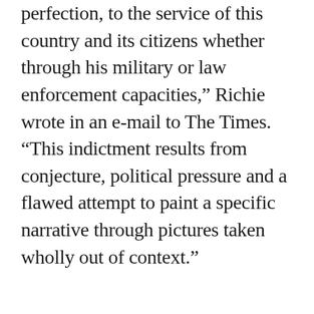perfection, to the service of this country and its citizens whether through his military or law enforcement capacities,” Richie wrote in an e-mail to The Times. “This indictment results from conjecture, political pressure and a flawed attempt to paint a specific narrative through pictures taken wholly out of context.”